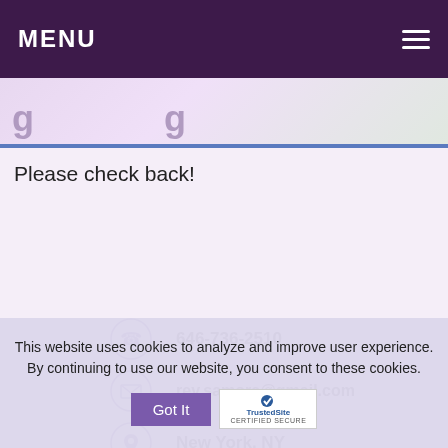MENU
Please check back!
646-736-2510
rev.samora@gmail.com
New York, NY
[Figure (illustration): Row of social media icon circles: Facebook, Google+, Pinterest, LinkedIn, Instagram, Skype, Twitter, and one more (teal)]
This website uses cookies to analyze and improve user experience. By continuing to use our website, you consent to these cookies.
Got It
[Figure (logo): TrustedSite CERTIFIED SECURE badge]